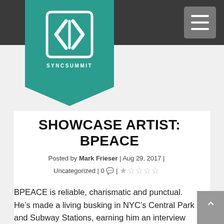[Figure (logo): SyncSummit logo: white interlocking arrows/S shape on teal pentagon shield, with 'SYNCSUMMIT' text below]
SHOWCASE ARTIST: BPEACE
Posted by Mark Frieser | Aug 29, 2017 | Uncategorized | 0 💬 | ★☆☆☆☆
BPEACE is reliable, charismatic and punctual. He's made a living busking in NYC's Central Park and Subway Stations, earning him an interview and jingle on New York's WFUV Radio Station. Later, he performed at resorts and chateau's around Vermont, Maine and New Hampshire